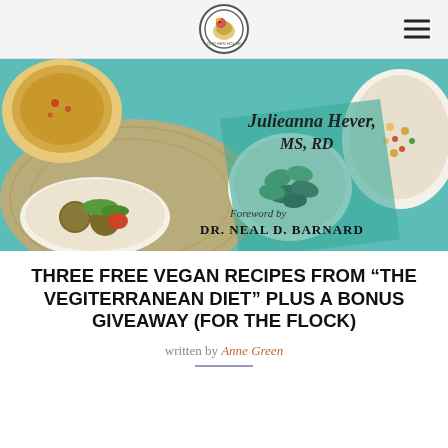Our Hen House logo and navigation
[Figure (photo): Book cover of 'The Vegiterranean Diet' by Julieanna Hever, MS, RD. Foreword by Dr. Neal D. Barnard. Cover shows Mediterranean food including hummus, falafel, olives, and a grain salad on a teal background.]
THREE FREE VEGAN RECIPES FROM "THE VEGITERRANEAN DIET" PLUS A BONUS GIVEAWAY (FOR THE FLOCK)
written by Anne Green